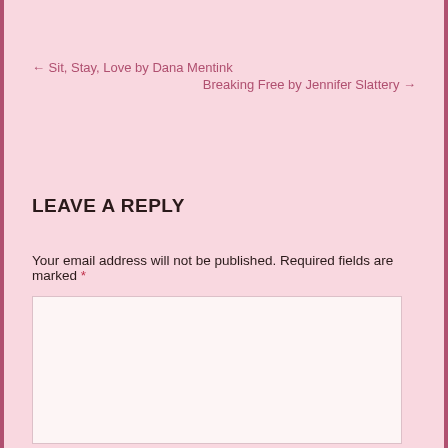← Sit, Stay, Love by Dana Mentink   Breaking Free by Jennifer Slattery →
LEAVE A REPLY
Your email address will not be published. Required fields are marked *
[Figure (other): Empty comment text area input box with light pinkish-white background]